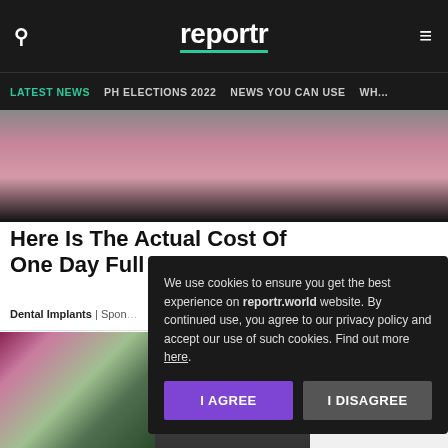reportr
LATEST NEWS | PH ELECTIONS 2022 | NEWS YOU CAN USE | WH...
[Figure (photo): Close-up photo of skin/scalp with pink tones on dark background]
Here Is The Actual Cost Of One Day Full Mouth Denta...
Dental Implants | Spon...
[Figure (photo): Two images side by side: left shows a street with cherry blossom trees and a stone building; right shows damaged roof shingles]
We use cookies to ensure you get the best experience on reportr.world website. By continued use, you agree to our privacy policy and accept our use of such cookies. Find out more here.
I AGREE | I DISAGREE